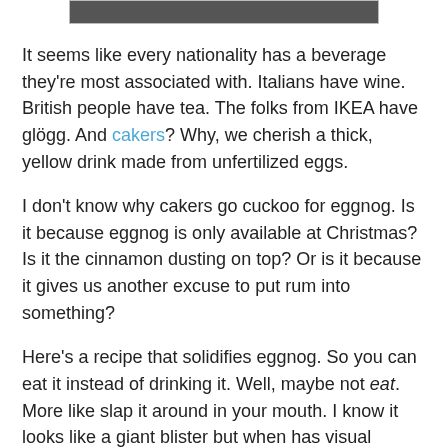[Figure (photo): Partial photo image at top of page, cropped — only bottom edge visible as a dark strip]
It seems like every nationality has a beverage they're most associated with. Italians have wine. British people have tea. The folks from IKEA have glögg. And cakers? Why, we cherish a thick, yellow drink made from unfertilized eggs.
I don't know why cakers go cuckoo for eggnog. Is it because eggnog is only available at Christmas? Is it the cinnamon dusting on top? Or is it because it gives us another excuse to put rum into something?
Here's a recipe that solidifies eggnog. So you can eat it instead of drinking it. Well, maybe not eat. More like slap it around in your mouth. I know it looks like a giant blister but when has visual appeal ever stopped cakers before? Just stick a poinsettia in it or spray with that fake snow stuff and you'll have everyone slapping back seconds.
P.S. Yes, this looks a lot like my Maple Fluff. I'm opening a bake shop that sells only greyish-beige wobbly things.